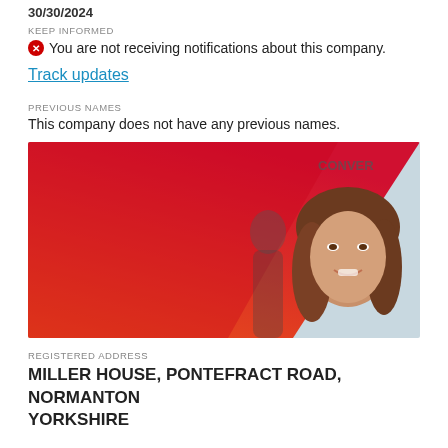30/30/2024
KEEP INFORMED
You are not receiving notifications about this company.
Track updates
PREVIOUS NAMES
This company does not have any previous names.
[Figure (photo): Banner image with red/orange gradient diagonal design on the left and a smiling woman with brown hair on the right side, with a blue/grey background visible behind her. Text partially visible in top right.]
REGISTERED ADDRESS
MILLER HOUSE, PONTEFRACT ROAD, NORMANTON YORKSHIRE